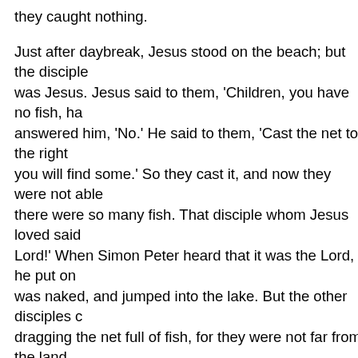they caught nothing.

Just after daybreak, Jesus stood on the beach; but the disciples did not know that it was Jesus. Jesus said to them, 'Children, you have no fish, have you?' They answered him, 'No.' He said to them, 'Cast the net to the right side of the boat, and you will find some.' So they cast it, and now they were not able to haul it in because there were so many fish. That disciple whom Jesus loved said to Peter, 'It is the Lord!' When Simon Peter heard that it was the Lord, he put on some clothes, for he was naked, and jumped into the lake. But the other disciples came in the boat, dragging the net full of fish, for they were not far from the land, only about a hundred yards off.

When they had gone ashore, they saw a charcoal fire there, with fish on it, and bread. Jesus said to them, 'Bring some of the fish that you have just caught.' So Simon Peter went aboard and hauled the net ashore, full of large fish, a hundred fifty-three of them; and though there were so many, the net was not torn. Jesus said to them, 'Come and have breakfast.' Now none of the disciples dared to ask him, 'Who are you?' because they knew it was the Lord. Jesus came and took the bread and gave it to them, and did the same with the fish. This was now the third time Jesus appeared to the disciples after he was raised from the dead.